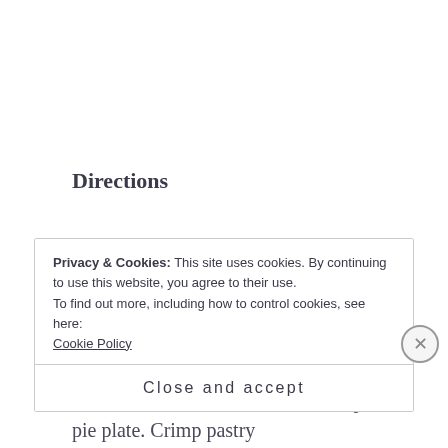Directions
Heat oven to 350 degrees .
Beat eggs slightly in bowl. Add both sugars, corn syrup, salt melted butter and vanilla. Stir in pecans. Roll out pastry to a 12-inch circle. Fit into a 9-inch deep-dish pie plate. Crimp pastry
Privacy & Cookies: This site uses cookies. By continuing to use this website, you agree to their use.
To find out more, including how to control cookies, see here:
Cookie Policy
Close and accept